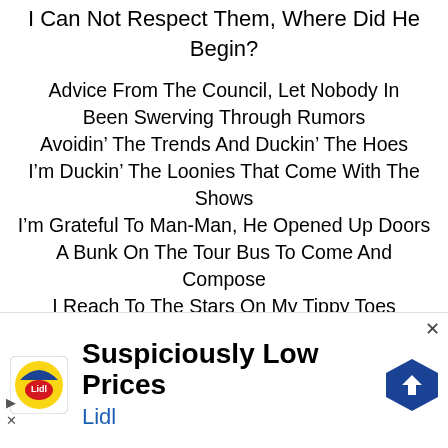I Can Not Respect Them, Where Did He Begin?
Advice From The Council, Let Nobody In
Been Swerving Through Rumors
Avoidin’ The Trends And Duckin’ The Hoes
I’m Duckin’ The Loonies That Come With The Shows
I’m Grateful To Man-Man, He Opened Up Doors
A Bunk On The Tour Bus To Come And Compose
I Reach To The Stars On My Tippy Toes
[Figure (other): Lidl advertisement banner with Lidl logo, text 'Suspiciously Low Prices' and 'Lidl', and a blue navigation arrow icon. Close button (x) in top right. Play and close icons on the left.]